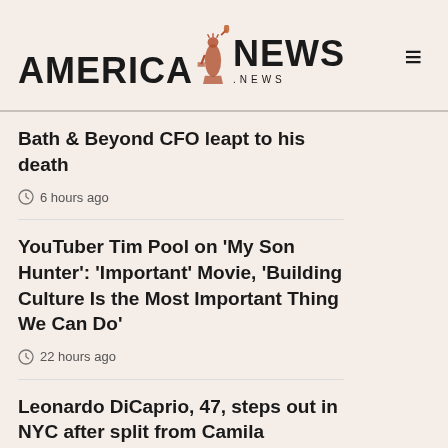AMERICA NEWS .NEWS
Bath & Beyond CFO leapt to his death
6 hours ago
YouTuber Tim Pool on 'My Son Hunter': 'Important' Movie, 'Building Culture Is the Most Important Thing We Can Do'
22 hours ago
Leonardo DiCaprio, 47, steps out in NYC after split from Camila Morrone, 25
22 hours ago
Top House Republican Slams Treasury Department for Refusing to